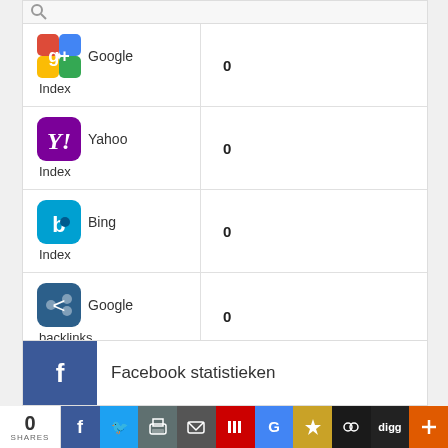| Engine | Value |
| --- | --- |
| Google Index | 0 |
| Yahoo Index | 0 |
| Bing Index | 0 |
| Google backlinks | 0 |
Facebook statistieken
0 SHARES